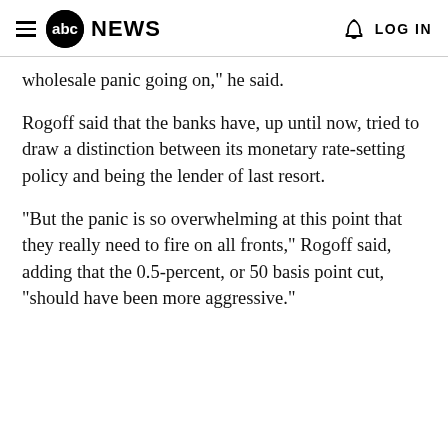abc NEWS   LOG IN
wholesale panic going on," he said.
Rogoff said that the banks have, up until now, tried to draw a distinction between its monetary rate-setting policy and being the lender of last resort.
"But the panic is so overwhelming at this point that they really need to fire on all fronts," Rogoff said, adding that the 0.5-percent, or 50 basis point cut, "should have been more aggressive."